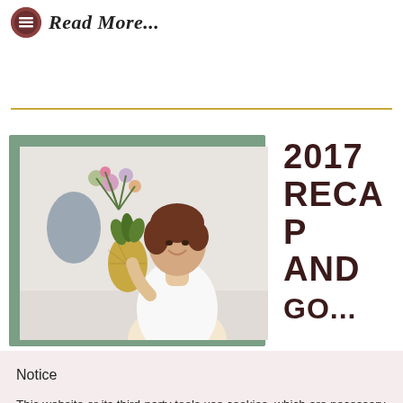Read More...
[Figure (photo): Woman with short brown hair smiling and holding a pineapple decorated with flowers, against a light background, with a green card frame overlay]
2017 RECAP AND GO...
Notice
This website or its third-party tools use cookies, which are necessary to its functioning and required to achieve the purposes illustrated in the cookie policy. If you want to know more or withdraw your consent to all or some of the cookies, please refer to the cookie policy. By closing this banner, scrolling this page, clicking a link or continuing to browse otherwise, you agree to the use of cookies.